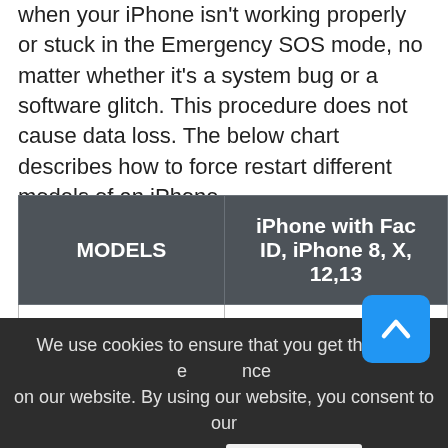when your iPhone isn't working properly or stuck in the Emergency SOS mode, no matter whether it's a system bug or a software glitch. This procedure does not cause data loss. The below chart describes how to force restart different models of an iPhone.
| MODELS | iPhone with Face ID, iPhone 8, X, 12,13 |
| --- | --- |
| Volume Up Button | Press the volume up button quickly, and then release it |
|  | Press the volu... |
We use cookies to ensure that you get the best experience on our website. By using our website, you consent to our Cookies Policy.
OK, GOT IT